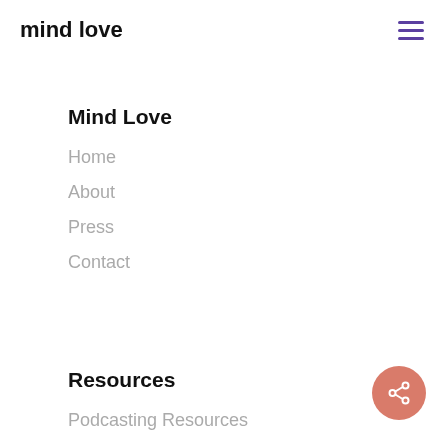mind love
Mind Love
Home
About
Press
Contact
Resources
Podcasting Resources
[Figure (other): Share button icon — salmon/terracotta colored circular button with share network icon]